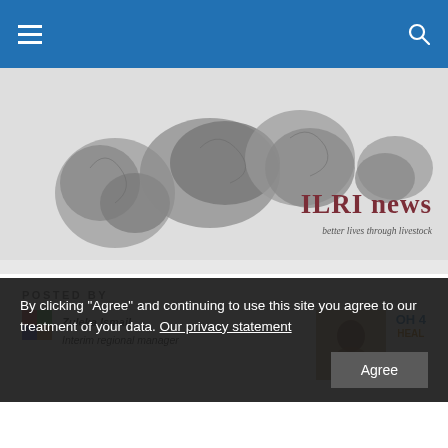Navigation bar with hamburger menu and search icon
[Figure (illustration): ILRI news website header banner showing a world map made of animal silhouettes in black and white, with 'ILRI news' brand name in dark red and tagline 'better lives through livestock' in italic]
POSTED BY
[Figure (logo): Small colorful square logo icon (ILRI)]
Zuleka Ismail
Interim regional manager
[Figure (photo): Portrait photo of a woman with short hair, warm background tone]
OH 4
HEAL
By clicking “Agree” and continuing to use this site you agree to our treatment of your data. Our privacy statement
Agree